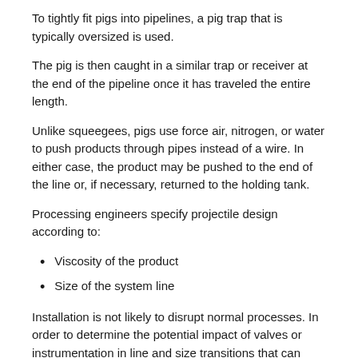To tightly fit pigs into pipelines, a pig trap that is typically oversized is used.
The pig is then caught in a similar trap or receiver at the end of the pipeline once it has traveled the entire length.
Unlike squeegees, pigs use force air, nitrogen, or water to push products through pipes instead of a wire. In either case, the product may be pushed to the end of the line or, if necessary, returned to the holding tank.
Processing engineers specify projectile design according to:
Viscosity of the product
Size of the system line
Installation is not likely to disrupt normal processes. In order to determine the potential impact of valves or instrumentation in line and size transitions that can impact recovery, process engineers can assess existing lines for potential obstacles, such as welds and dents.